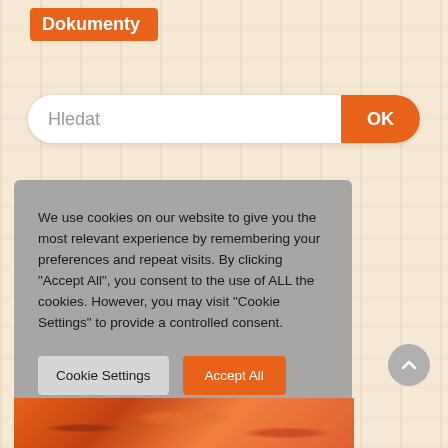Dokumenty
Hledat
OK
We use cookies on our website to give you the most relevant experience by remembering your preferences and repeat visits. By clicking "Accept All", you consent to the use of ALL the cookies. However, you may visit "Cookie Settings" to provide a controlled consent.
Cookie Settings
Accept All